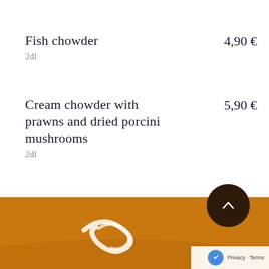Fish chowder    4,90 €
2dl
Cream chowder with prawns and dried porcini mushrooms    5,90 €
2dl
[Figure (photo): Close-up photo of orange/golden cream soup with a white cream swirl on top, viewed from above]
[Figure (other): Dark brown circular scroll-to-top button with a chevron/arrow pointing upward]
Privacy · Terms